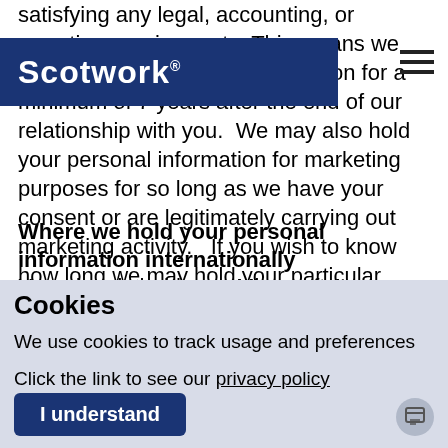satisfying any legal, accounting, or reporting requirements. This means we will generally hold your information for a minimum of 7 years after the end of our relationship with you. We may also hold your personal information for marketing purposes for so long as we have your consent or are legitimately carrying out marketing activity. If you wish to know how long we may hold your particular personal information as a record of a particular matter then please e-mail info@scotwork.com.
[Figure (logo): Scotwork logo — white text on dark navy blue background banner]
Where we hold your personal information internationally
Your data is held on a Microsoft Azure secure server in a data centre in Dublin with a backup server in Amsterdam. Microsoft security...
Cookies
We use cookies to track usage and preferences
Click the link to see our privacy policy